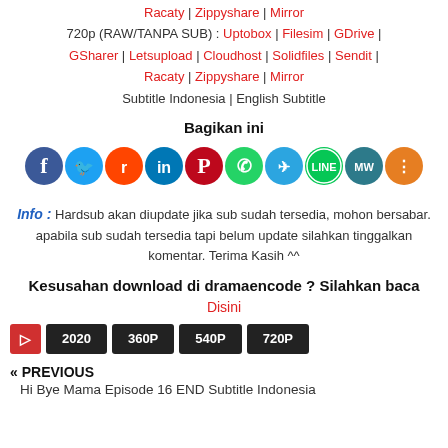Racaty | Zippyshare | Mirror
720p (RAW/TANPA SUB) : Uptobox | Filesim | GDrive | GSharer | Letsupload | Cloudhost | Solidfiles | Sendit | Racaty | Zippyshare | Mirror
Subtitle Indonesia | English Subtitle
Bagikan ini
[Figure (infographic): Row of 10 social media share icons: Facebook (dark blue), Twitter (light blue), Reddit (orange), LinkedIn (dark blue), Pinterest (dark red), WhatsApp (green), Telegram (light blue), LINE (green outlined), MW (dark teal), Share (orange)]
Info : Hardsub akan diupdate jika sub sudah tersedia, mohon bersabar. apabila sub sudah tersedia tapi belum update silahkan tinggalkan komentar. Terima Kasih ^^
Kesusahan download di dramaencode ? Silahkan baca
Disini
2020 | 360P | 540P | 720P
« PREVIOUS
Hi Bye Mama Episode 16 END Subtitle Indonesia